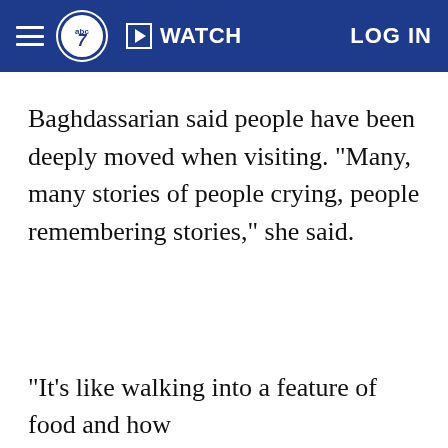WATCH  LOG IN
Baghdassarian said people have been deeply moved when visiting. "Many, many stories of people crying, people remembering stories," she said.
"It's like walking into a feature of food and how